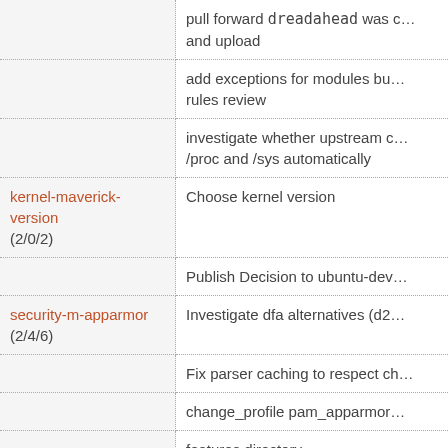| Package | Task |
| --- | --- |
|  | pull forward `dreadahead` was c... and upload |
|  | add exceptions for modules bu... rules review |
|  | investigate whether upstream c... /proc and /sys automatically |
| kernel-maverick-version
(2/0/2) | Choose kernel version |
|  | Publish Decision to ubuntu-dev... |
| security-m-apparmor
(2/4/6) | Investigate dfa alternatives (d2... |
|  | Fix parser caching to respect ch... |
|  | change_profile pam_apparmor... |
|  | features directory |
|  | investigate mediation of btrfs s... |
|  | reintroduce exec time revalidat... |